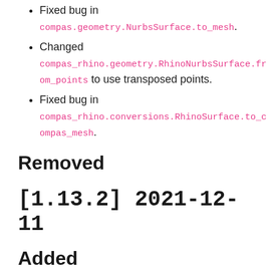Fixed bug in compas.geometry.NurbsSurface.to_mesh.
Changed compas_rhino.geometry.RhinoNurbsSurface.from_points to use transposed points.
Fixed bug in compas_rhino.conversions.RhinoSurface.to_compas_mesh.
Removed
[1.13.2] 2021-12-11
Added
Added compas_ghpython.fetch_ghio_lib to simplify the loading of Grasshopper's IO library for